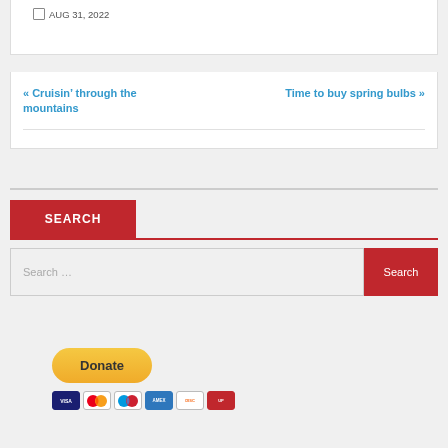AUG 31, 2022
« Cruisin' through the mountains
Time to buy spring bulbs »
SEARCH
Search …
Search
[Figure (other): PayPal Donate button with payment card icons (Visa, Mastercard, Maestro, American Express, Discover, UnionPay)]